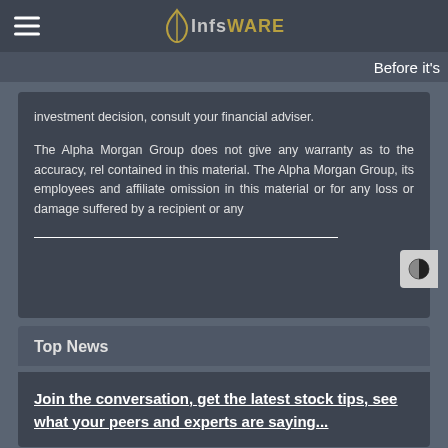InfsWARE
Before it's
investment decision, consult your financial adviser.

The Alpha Morgan Group does not give any warranty as to the accuracy, rel contained in this material. The Alpha Morgan Group, its employees and affiliate omission in this material or for any loss or damage suffered by a recipient or any
Top News
Join the conversation, get the latest stock tips, see what your peers and experts are saying...